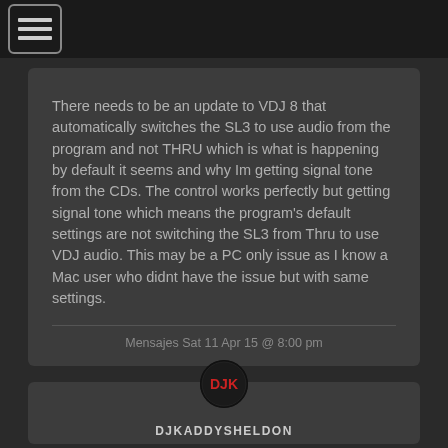There needs to be an update to VDJ 8 that automatically switches the SL3 to use audio from the program and not THRU which is what is happening by default it seems and why Im getting signal tone from the CDs. The control works perfectly but getting signal tone which means the program's default settings are not switching the SL3 from Thru to use VDJ audio. This may be a PC only issue as I know a Mac user who didnt have the issue but with same settings.
Mensajes Sat 11 Apr 15 @ 8:00 pm
[Figure (logo): DJK logo circle - dark circle with red DJK letters]
DJKADDYSHELDON